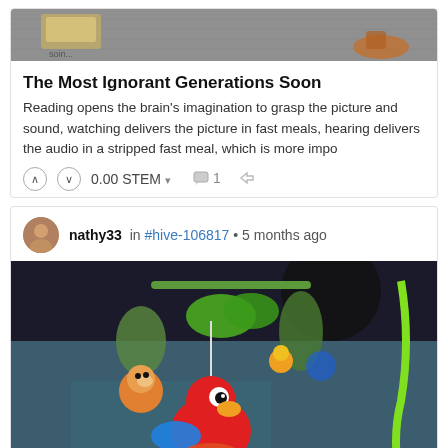[Figure (illustration): Top cropped image showing cartoon/pixel art characters on a grey textured background, partially visible at the top of the first card]
The Most Ignorant Generations Soon
Reading opens the brain's imagination to grasp the picture and sound, watching delivers the picture in fast meals, hearing delivers the audio in a stripped fast meal, which is more impo
0.00 STEM  1
nathy33 in #hive-106817 • 5 months ago
[Figure (photo): Photo of colorful baby mobile toys hanging, featuring a red parrot/bird, a small monkey, green leaves, and other colorful animal figures against a dark background]